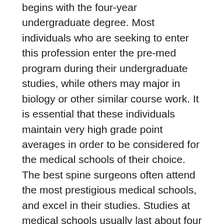begins with the four-year undergraduate degree. Most individuals who are seeking to enter this profession enter the pre-med program during their undergraduate studies, while others may major in biology or other similar course work. It is essential that these individuals maintain very high grade point averages in order to be considered for the medical schools of their choice. The best spine surgeons often attend the most prestigious medical schools, and excel in their studies. Studies at medical schools usually last about four years, followed by five years of residency training with experienced surgeons.
The state of Texas is known for its excellent spinal surgeons. Texas prides itself on producing some of the best spine surgeons in the nation. Due to the excellent undergraduate education and hands on experience that these surgeons receive, they usually